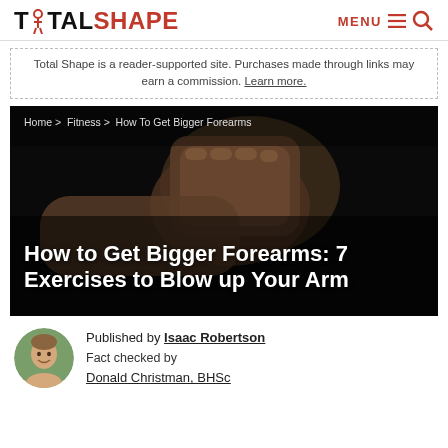TOTAL SHAPE  MENU ≡ 🔍
Total Shape is a reader-supported site. Purchases made through links may earn a commission. Learn more.
[Figure (photo): A muscular forearm and clenched fist against a dark background, with breadcrumb navigation: Home > Fitness > How To Get Bigger Forearms overlaid at the top, and article title at the bottom]
How to Get Bigger Forearms: 7 Exercises to Blow up Your Arm
Published by Isaac Robertson
Fact checked by Donald Christman, BHSc